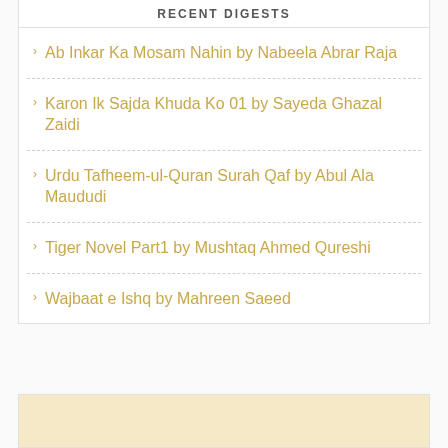RECENT DIGESTS
Ab Inkar Ka Mosam Nahin by Nabeela Abrar Raja
Karon Ik Sajda Khuda Ko 01 by Sayeda Ghazal Zaidi
Urdu Tafheem-ul-Quran Surah Qaf by Abul Ala Maududi
Tiger Novel Part1 by Mushtaq Ahmed Qureshi
Wajbaat e Ishq by Mahreen Saeed